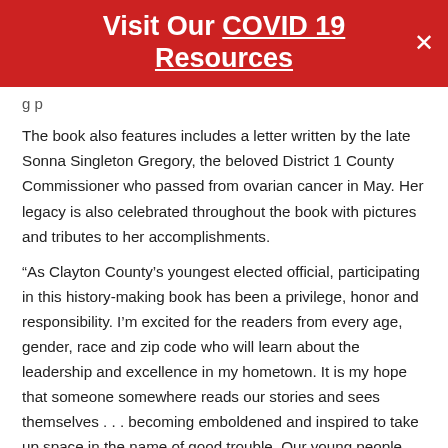Visit Our COVID 19 Resources
g p
The book also features includes a letter written by the late Sonna Singleton Gregory, the beloved District 1 County Commissioner who passed from ovarian cancer in May. Her legacy is also celebrated throughout the book with pictures and tributes to her accomplishments.
“As Clayton County’s youngest elected official, participating in this history-making book has been a privilege, honor and responsibility. I’m excited for the readers from every age, gender, race and zip code who will learn about the leadership and excellence in my hometown. It is my hope that someone somewhere reads our stories and sees themselves . . . becoming emboldened and inspired to take up space in the name of good trouble. Our young people cannot be what they cannot see.” Jasmine Bowles, Board Member – District 1